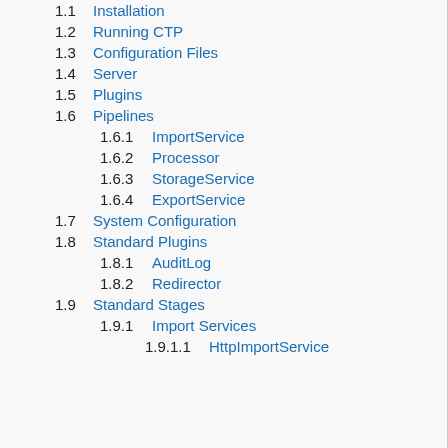1.1 Installation
1.2 Running CTP
1.3 Configuration Files
1.4 Server
1.5 Plugins
1.6 Pipelines
1.6.1 ImportService
1.6.2 Processor
1.6.3 StorageService
1.6.4 ExportService
1.7 System Configuration
1.8 Standard Plugins
1.8.1 AuditLog
1.8.2 Redirector
1.9 Standard Stages
1.9.1 Import Services
1.9.1.1 HttpImportService